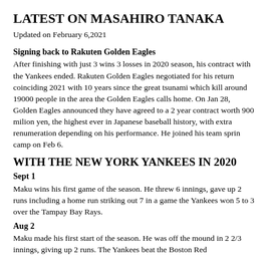LATEST ON MASAHIRO TANAKA
Updated on February 6,2021
Signing back to Rakuten Golden Eagles
After finishing with just 3 wins 3 losses in 2020 season, his contract with the Yankees ended. Rakuten Golden Eagles negotiated for his return coinciding 2021 with 10 years since the great tsunami which kill around 19000 people in the area the Golden Eagles calls home. On Jan 28, Golden Eagles announced they have agreed to a 2 year contract worth 900 milion yen, the highest ever in Japanese baseball history, with extra renumeration depending on his performance. He joined his team sprin camp on Feb 6.
WITH THE NEW YORK YANKEES IN 2020
Sept 1
Maku wins his first game of the season. He threw 6 innings, gave up 2 runs including a home run striking out 7 in a game the Yankees won 5 to 3 over the Tampay Bay Rays.
Aug 2
Maku made his first start of the season. He was off the mound in 2 2/3 innings, giving up 2 runs. The Yankees beat the Boston Red